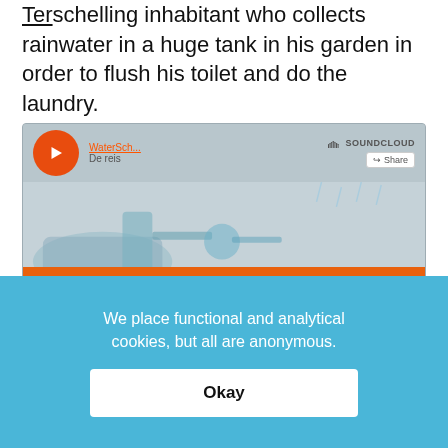Terschelling inhabitant who collects rainwater in a huge tank in his garden in order to flush his toilet and do the laundry.
[Figure (screenshot): SoundCloud embedded audio player showing 'WaterSch... De reis' track with orange play button, 'Play on SoundCloud' orange button, 'Listen in browser' dark button, waveform background illustration, Privacy policy link, and play count 105.]
We place functional and analytical cookies, but all are anonymous.
Okay